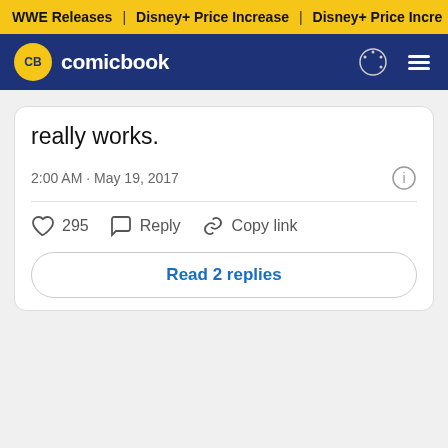WWE Releases | Disney+ Price Increase | Disney+ Price Incre
CB comicbook
really works.
2:00 AM · May 19, 2017
295  Reply  Copy link
Read 2 replies